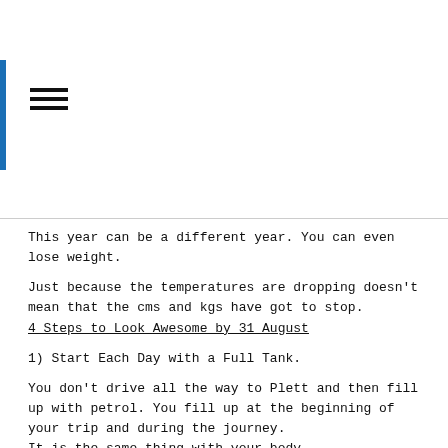[Figure (other): Hamburger menu icon (three horizontal lines) with a blue vertical bar on the left edge]
This year can be a different year. You can even lose weight.
Just because the temperatures are dropping doesn't mean that the cms and kgs have got to stop.
4 Steps to Look Awesome by 31 August
1) Start Each Day with a Full Tank.
You don't drive all the way to Plett and then fill up with petrol. You fill up at the beginning of your trip and during the journey.
It is the same thing with your body.
Eat in the morning.
If eating is not your thing then drink your breakfast! It's quicker too.
Recipe
Take a handful of frozen berries,
2 scoops of protein powder,
a mix of milk, double cream yoghurt and water to make 300ml,